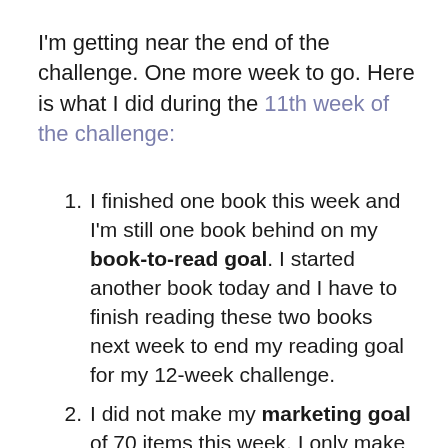I'm getting near the end of the challenge. One more week to go. Here is what I did during the 11th week of the challenge:
I finished one book this week and I'm still one book behind on my book-to-read goal. I started another book today and I have to finish reading these two books next week to end my reading goal for my 12-week challenge.
I did not make my marketing goal of 70 items this week. I only make 56 total this week. The Giveaways post on Goodreads have 354 total so far, a gain of 30 entries